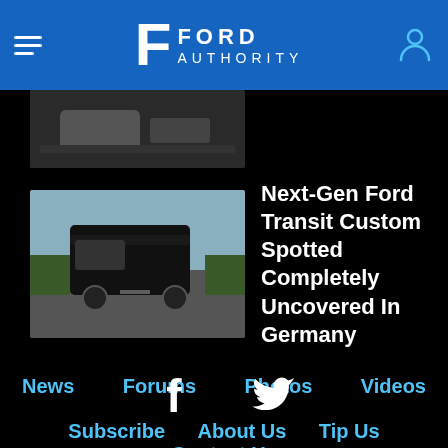Ford Authority
[Figure (photo): Partial article thumbnail at top — dark van/vehicle image partially cut off]
[Figure (photo): Next-Gen Ford Transit Custom black van driving on road in Germany]
Next-Gen Ford Transit Custom Spotted Completely Uncovered In Germany
News
Forums
Photos
Videos
Subscribe
About Us
Tip Us
Contact Us
Register
Sitemap
Privacy
[Figure (logo): Facebook and Twitter social media icons]